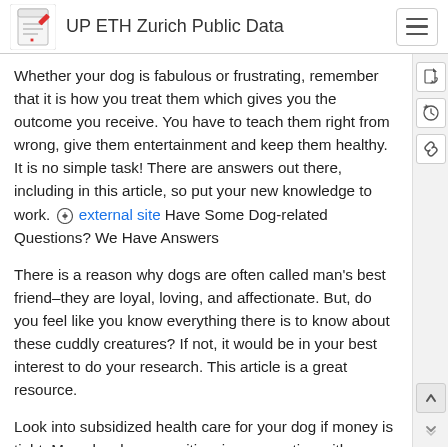UP ETH Zurich Public Data
Whether your dog is fabulous or frustrating, remember that it is how you treat them which gives you the outcome you receive. You have to teach them right from wrong, give them entertainment and keep them healthy. It is no simple task! There are answers out there, including in this article, so put your new knowledge to work. external site Have Some Dog-related Questions? We Have Answers
There is a reason why dogs are often called man's best friend–they are loyal, loving, and affectionate. But, do you feel like you know everything there is to know about these cuddly creatures? If not, it would be in your best interest to do your research. This article is a great resource.
Look into subsidized health care for your dog if money is tight. Many local communities, in cooperation with groups like the SPCA offer discounted services that have proven invaluable to dog owners. Look into getting your dog spayed or neutered and vaccinated for a fraction of veterinary costs at a sponsored event probably close-by to you. Just contact the SPCA or an animal shelter in your